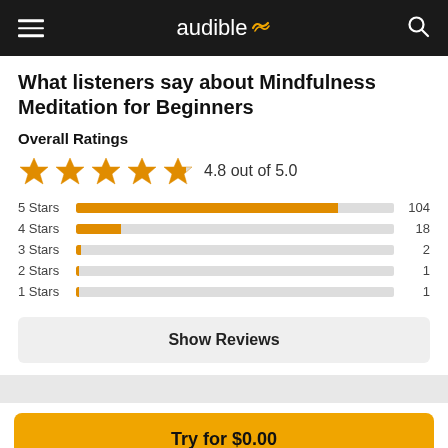audible
What listeners say about Mindfulness Meditation for Beginners
Overall Ratings
[Figure (bar-chart): Star Ratings Distribution]
Show Reviews
Try for $0.00